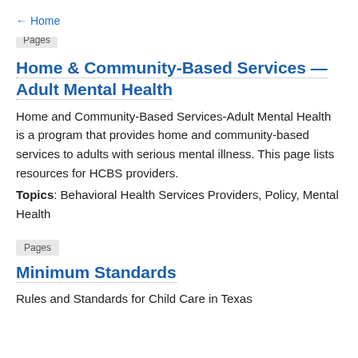← Home
Pages
Home & Community-Based Services — Adult Mental Health
Home and Community-Based Services-Adult Mental Health is a program that provides home and community-based services to adults with serious mental illness. This page lists resources for HCBS providers.
Topics: Behavioral Health Services Providers, Policy, Mental Health
Pages
Minimum Standards
Rules and Standards for Child Care in Texas